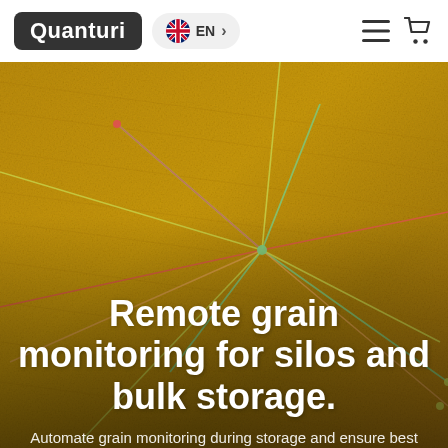Quanturi | EN > | (menu) (cart)
[Figure (photo): Aerial view of grain surface with colored monitoring sensor lines overlaid in green, yellow, red, and orange forming a triangulated network pattern.]
Remote grain monitoring for silos and bulk storage.
Automate grain monitoring during storage and ensure best